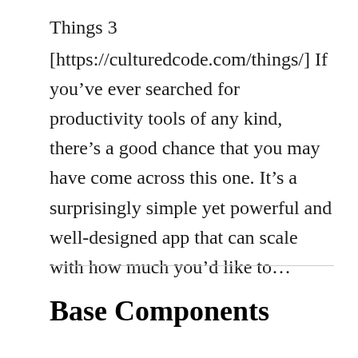Things 3
[https://culturedcode.com/things/] If you’ve ever searched for productivity tools of any kind, there’s a good chance that you may have come across this one. It’s a surprisingly simple yet powerful and well-designed app that can scale with how much you’d like to…
Base Components